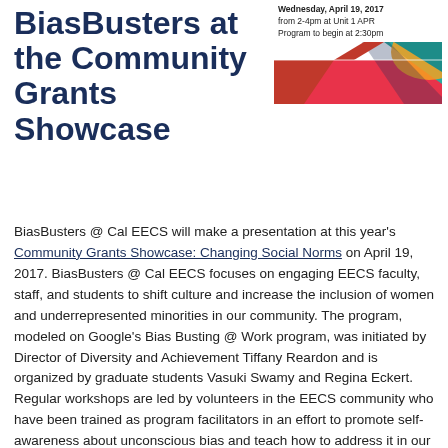BiasBusters at the Community Grants Showcase
[Figure (illustration): Event graphic for Community Grants Showcase: Changing Social Norms. Wednesday, April 19, 2017 from 2-4pm at Unit 1 APR. Program to begin at 2:30pm. Colorful abstract design with teal, red, and orange shapes.]
BiasBusters @ Cal EECS will make a presentation at this year's Community Grants Showcase: Changing Social Norms on April 19, 2017. BiasBusters @ Cal EECS focuses on engaging EECS faculty, staff, and students to shift culture and increase the inclusion of women and underrepresented minorities in our community. The program, modeled on Google's Bias Busting @ Work program, was initiated by Director of Diversity and Achievement Tiffany Reardon and is organized by graduate students Vasuki Swamy and Regina Eckert. Regular workshops are led by volunteers in the EECS community who have been trained as program facilitators in an effort to promote self-awareness about unconscious bias and teach how to address it in our department and daily lives. The grant was sponsored by the PATH to Care Center with support from